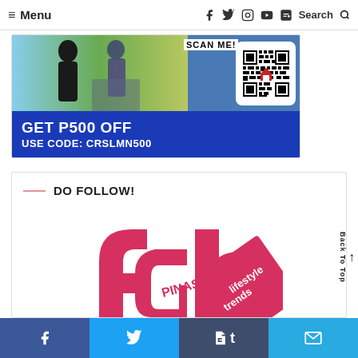≡ Menu  [social icons]  Search
[Figure (photo): Advertisement banner: photo of people outdoors, QR code labeled SCAN ME!, blue panel with GET P500 OFF USE CODE: CRSLMN500]
DO FOLLOW!
[Figure (logo): fab PINAS lifestyle trends logo in pink/red]
Back To Top arrow
Share bar: f (Facebook), Twitter bird, t (Tumblr), envelope (email)